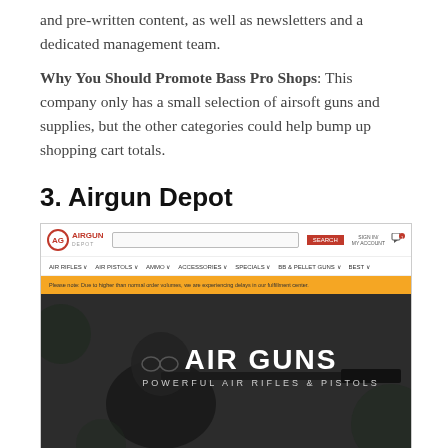and pre-written content, as well as newsletters and a dedicated management team.
Why You Should Promote Bass Pro Shops: This company only has a small selection of airsoft guns and supplies, but the other categories could help bump up shopping cart totals.
3. Airgun Depot
[Figure (screenshot): Screenshot of the Airgun Depot website homepage showing logo, navigation bar, search bar, yellow alert banner, and a hero image of a person aiming an air gun with overlay text 'AIR GUNS - POWERFUL AIR RIFLES & PISTOLS']
Your Experts In Air Guns
Airgun Depot carries mostly airguns and related equipment, but it also offers airsoft guns and accessories.